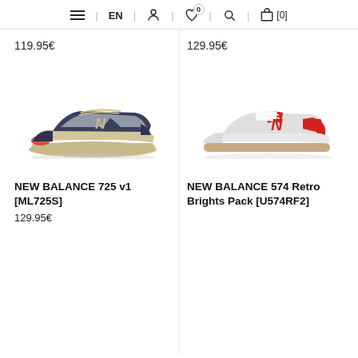≡ EN | person | wishlist(0) | search | cart [0]
119.95€
129.95€
[Figure (photo): New Balance 725 v1 sneaker in navy blue and grey colorway, side profile view]
[Figure (photo): New Balance 574 Retro Brights Pack sneaker in white and red colorway, side profile view]
NEW BALANCE 725 v1 [ML725S]
129.95€
NEW BALANCE 574 Retro Brights Pack [U574RF2]